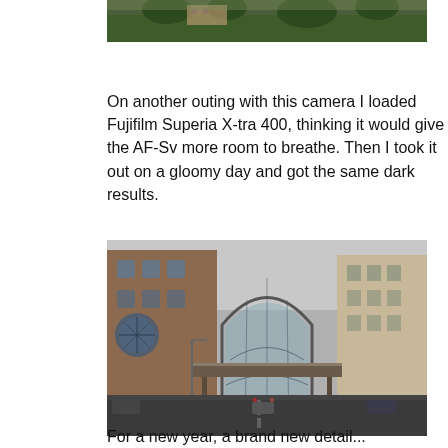[Figure (photo): Partial view of a park scene with green grass and trees, appearing at the top of the page cropped.]
On another outing with this camera I loaded Fujifilm Superia X-tra 400, thinking it would give the AF-Sv more room to breathe. Then I took it out on a gloomy day and got the same dark results.
[Figure (photo): Dark photograph of a city street with a glass-domed building/atrium in the center background, flanked by large brick and concrete buildings. A pedestrian bridge spans the street. Cars visible on the wet road.]
For a new year, a brand new detail...